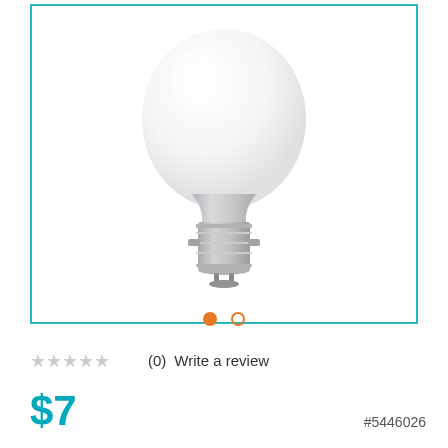[Figure (photo): LED light bulb with white globe and silver bayonet cap (B22) base, shown against white background inside a teal-bordered product image box with carousel navigation dots below]
(0)   Write a review
$7
#5446026